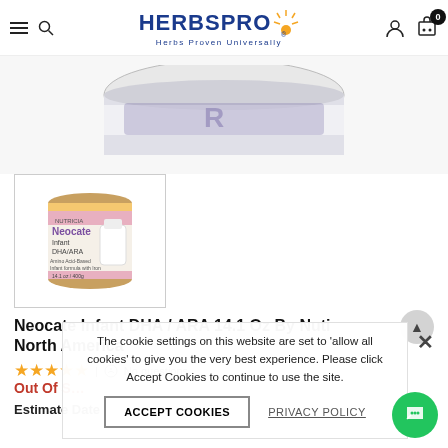HerbsPro - Herbs Proven Universally
[Figure (photo): Top portion of a Neocate Infant DHA/ARA product can, partially cropped at the top of the page]
[Figure (photo): Thumbnail image of Neocate Infant DHA/ARA 14.1 oz can by Nutricia North America, shown in a bordered box]
Neocate Infant DHA / ARA 14.1 Oz By Nutricia North America
★★★★★ | No questions
Out Of Stock
Estimate Date Of Shipping:
The cookie settings on this website are set to 'allow all cookies' to give you the very best experience. Please click Accept Cookies to continue to use the site.
ACCEPT COOKIES
PRIVACY POLICY